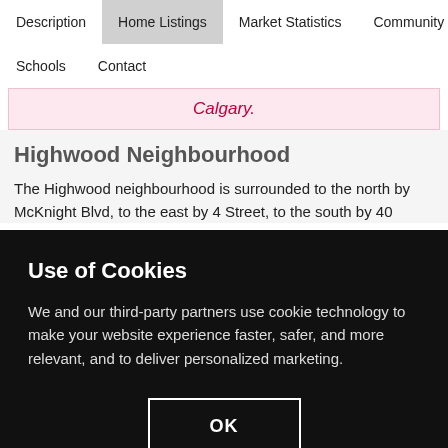Description | Home Listings | Market Statistics | Community | Schools | Contact
Calgary.
Highwood Neighbourhood
The Highwood neighbourhood is surrounded to the north by McKnight Blvd, to the east by 4 Street, to the south by 40
Use of Cookies
We and our third-party partners use cookie technology to make your website experience faster, safer, and more relevant, and to deliver personalized marketing.
OK